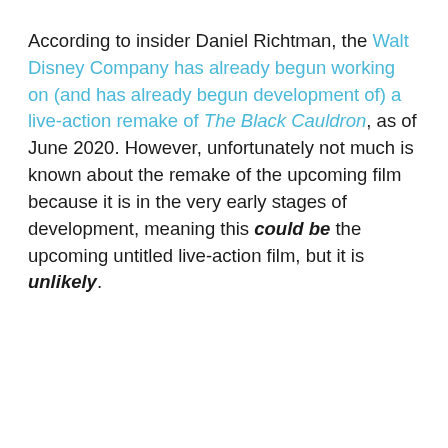According to insider Daniel Richtman, the Walt Disney Company has already begun working on (and has already begun development of) a live-action remake of The Black Cauldron, as of June 2020. However, unfortunately not much is known about the remake of the upcoming film because it is in the very early stages of development, meaning this could be the upcoming untitled live-action film, but it is unlikely.